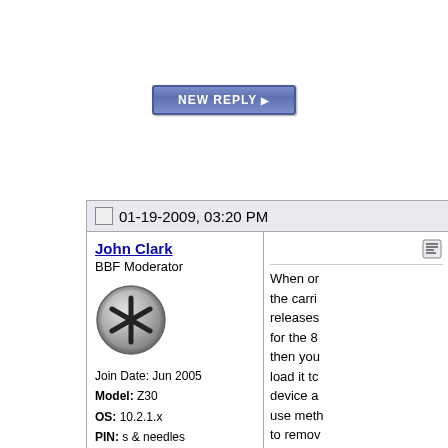[Figure (other): NEW REPLY button with blue/purple gradient styling]
01-19-2009, 03:20 PM
John Clark
BBF Moderator
[Figure (illustration): Round silver/metallic badge icon with an asterisk (*) symbol in the center]
Join Date: Jun 2005
Model: Z30
OS: 10.2.1.x
PIN: s & needles
Carrier: AT&T
Posts: 34,720
When or
the carri
releases
for the 8
then you
load it tc
device a
use meth
to remov
complete
and have